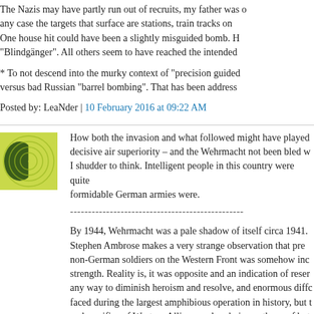The Nazis may have partly run out of recruits, my father was o... any case the targets that surface are stations, train tracks on... One house hit could have been a slightly misguided bomb. H... "Blindgänger". All others seem to have reached the intended...
* To not descend into the murky context of "precision guided... versus bad Russian "barrel bombing". That has been address...
Posted by: LeaNder | 10 February 2016 at 09:22 AM
[Figure (illustration): Green and yellow square avatar/logo with a circular design and leaf-like pattern]
How both the invasion and what followed might have played... decisive air superiority – and the Wehrmacht not been bled w... I shudder to think. Intelligent people in this country were quite... formidable German armies were.
------------------------------------------------
By 1944, Wehrmacht was a pale shadow of itself circa 1941.... Stephen Ambrose makes a very strange observation that pre... non-German soldiers on the Western Front was somehow inc... strength. Reality is, it was opposite and an indication of reser... any way to diminish heroism and resolve, and enormous diffc... faced during the largest amphibious operation in history, but t... and sacrifice of Western Allies are already in pantheon of bot...